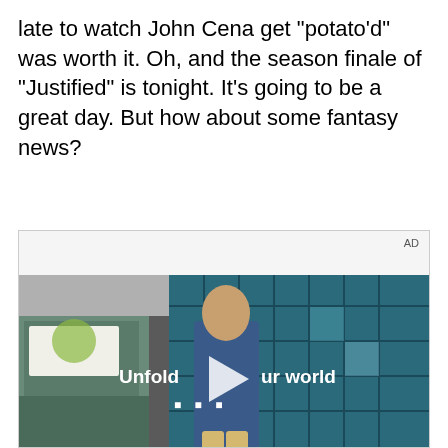late to watch John Cena get "potato'd" was worth it. Oh, and the season finale of "Justified" is tonight. It's going to be a great day. But how about some fantasy news?
[Figure (screenshot): Video advertisement placeholder showing a young man in a denim jacket walking in a restaurant or cafeteria with blue tile windows. Text overlay reads 'Unfold your world' with a play button. AD label in top right corner.]